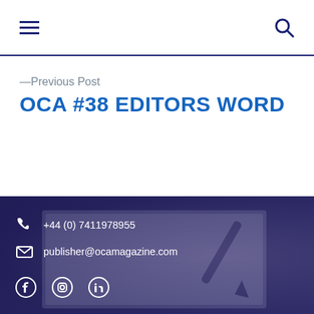Navigation bar with hamburger menu and search icon
—Previous Post
OCA #38 EDITORS WORD
[Figure (photo): Dark blue-tinted background photo of a notebook and pen on a desk, used as footer background]
+44 (0) 7411978955
publisher@ocamagazine.com
Facebook, Instagram, LinkedIn social media icons